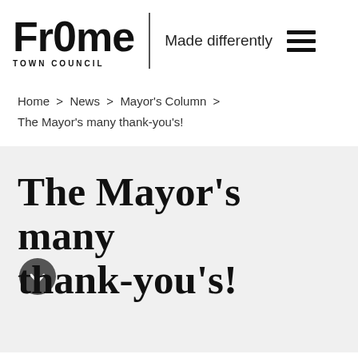FrOme TOWN COUNCIL — Made differently
Home > News > Mayor's Column > The Mayor's many thank-you's!
The Mayor's many thank-you's!